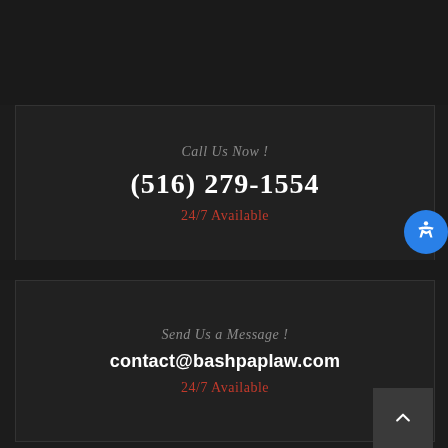Call Us Now !
(516) 279-1554
24/7 Available
Send Us a Message !
contact@bashpaplaw.com
24/7 Available